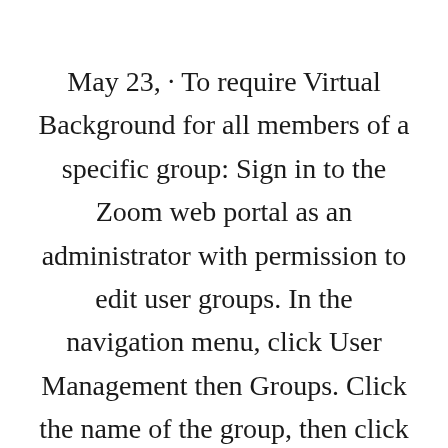May 23,  · To require Virtual Background for all members of a specific group: Sign in to the Zoom web portal as an administrator with permission to edit user groups. In the navigation menu, click User Management then Groups. Click the name of the group, then click the Meeting tab to access settings. In the Meeting tab, navigate to the Virtual Background. Feb 25,  · The ideal dimensions